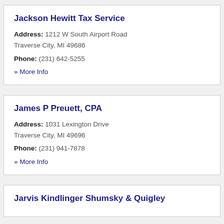Jackson Hewitt Tax Service
Address: 1212 W South Airport Road Traverse City, MI 49686
Phone: (231) 642-5255
» More Info
James P Preuett, CPA
Address: 1031 Lexington Drive Traverse City, MI 49696
Phone: (231) 941-7878
» More Info
Jarvis Kindlinger Shumsky & Quigley